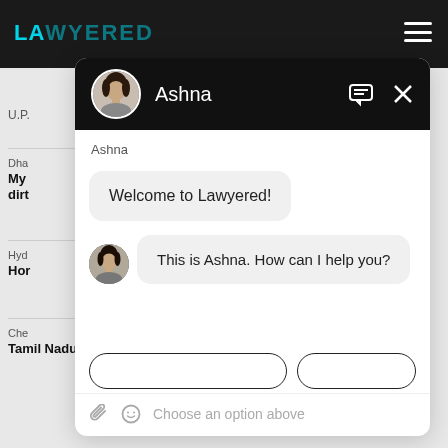[Figure (screenshot): Screenshot of Lawyered website with a chat widget overlay featuring an AI assistant named Ashna. The chat widget shows a black header with a profile photo and name 'Ashna', with two messages: 'Welcome to Lawyered!' and 'This is Ashna. How can I help you?', along with quick reply buttons and a text input area with 'Choose an option above' placeholder.]